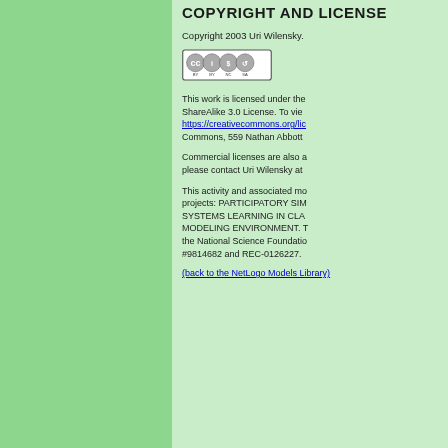COPYRIGHT AND LICENSE
Copyright 2003 Uri Wilensky.
[Figure (logo): Creative Commons BY-NC-SA license badge]
This work is licensed under the Creative Commons Attribution-NonCommercial-ShareAlike 3.0 License. To view a copy of this license, visit https://creativecommons.org/licenses/by-nc-sa/3.0/ or send a letter to Creative Commons, 559 Nathan Abbott Way, Stanford, California 94305, USA.
Commercial licenses are also available. To inquire about commercial licenses, please contact Uri Wilensky at uri@northwestern.edu.
This activity and associated models and materials were created as part of the projects: PARTICIPATORY SIMULATIONS: NETWORK-BASED DESIGN FOR SYSTEMS LEARNING IN CLASSROOMS and/or INTEGRATED SIMULATION AND MODELING ENVIRONMENT. The project gratefully acknowledges the support of the National Science Foundation (REPP & ROLE programs) -- grant numbers REC #9814682 and REC-0126227.
(back to the NetLogo Models Library)